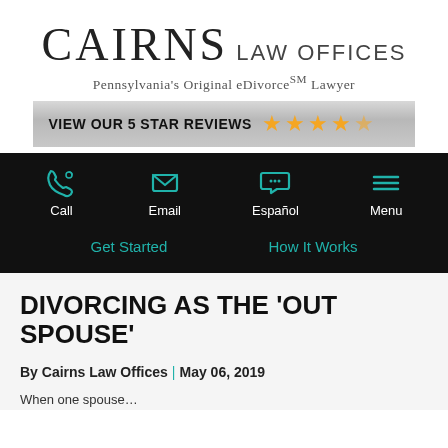[Figure (logo): Cairns Law Offices logo with text 'Pennsylvania's Original eDivorce℠ Lawyer']
[Figure (infographic): Silver review banner reading 'VIEW OUR 5 STAR REVIEWS' with 5 gold stars]
[Figure (infographic): Black navigation bar with Call, Email, Español, Menu icons and Get Started, How It Works links]
DIVORCING AS THE 'OUT SPOUSE'
By Cairns Law Offices | May 06, 2019
When one spouse...